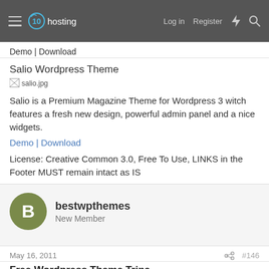x10hosting — Log in | Register
Demo | Download
Salio Wordpress Theme
[Figure (photo): Broken image placeholder labeled salio.jpg]
Salio is a Premium Magazine Theme for Wordpress 3 witch features a fresh new design, powerful admin panel and a nice widgets.
Demo | Download
License: Creative Common 3.0, Free To Use, LINKS in the Footer MUST remain intact as IS
bestwpthemes
New Member
May 16, 2011
#146
Free Wordpress Theme Trina